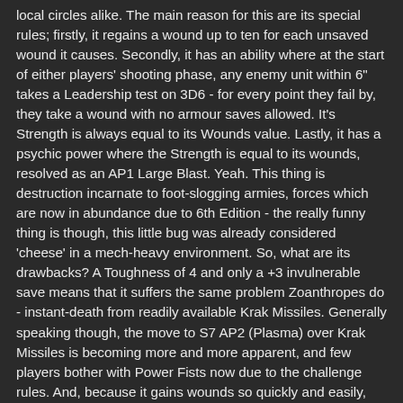local circles alike. The main reason for this are its special rules; firstly, it regains a wound up to ten for each unsaved wound it causes. Secondly, it has an ability where at the start of either players' shooting phase, any enemy unit within 6" takes a Leadership test on 3D6 - for every point they fail by, they take a wound with no armour saves allowed. It's Strength is always equal to its Wounds value. Lastly, it has a psychic power where the Strength is equal to its wounds, resolved as an AP1 Large Blast. Yeah. This thing is destruction incarnate to foot-slogging armies, forces which are now in abundance due to 6th Edition - the really funny thing is though, this little bug was already considered 'cheese' in a mech-heavy environment. So, what are its drawbacks? A Toughness of 4 and only a +3 invulnerable save means that it suffers the same problem Zoanthropes do - instant-death from readily available Krak Missiles. Generally speaking though, the move to S7 AP2 (Plasma) over Krak Missiles is becoming more and more apparent, and few players bother with Power Fists now due to the challenge rules. And, because it gains wounds so quickly and easily, small arms fire simply doesn't work against it. You must be thinking, well, it has to be incredibly expensive,